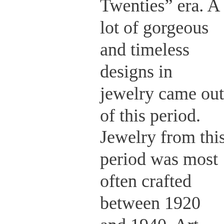Twenties” era. A lot of gorgeous and timeless designs in jewelry came out of this period. Jewelry from this period was most often crafted between 1920 and 1940. Art Deco jewelry sometimes